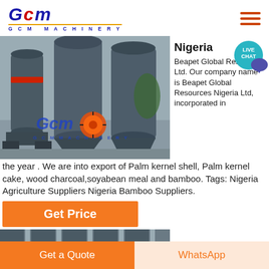[Figure (logo): GCM Machinery logo with blue italic text and gold underline]
[Figure (photo): Industrial grinding/milling machinery in a factory with GCM Machinery watermark overlay]
Nigeria
Beapet Global Resources Ltd. Our company name is Beapet Global Resources Nigeria Ltd, incorporated in the year . We are into export of Palm kernel shell, Palm kernel cake, wood charcoal,soyabean meal and bamboo. Tags: Nigeria Agriculture Suppliers Nigeria Bamboo Suppliers.
Get Price
[Figure (photo): Industrial machinery or equipment, partial view at bottom of page]
Palm Oil And
Get a Quote
WhatsApp